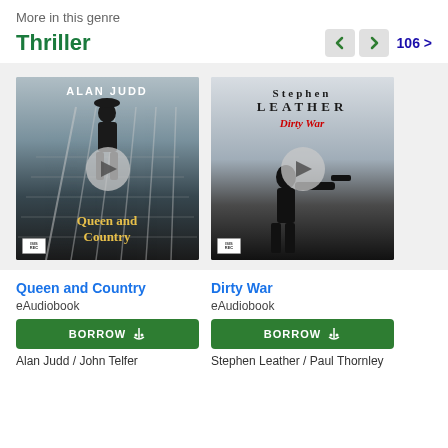More in this genre
Thriller
106 >
[Figure (illustration): Audiobook cover for 'Queen and Country' by Alan Judd. Dark staircase scene with silhouetted figure, yellow title text, play button overlay.]
[Figure (illustration): Audiobook cover for 'Dirty War' by Stephen Leather. Dark silhouette of person with gun on grey background, red subtitle text, play button overlay.]
Queen and Country
eAudiobook
BORROW
Alan Judd / John Telfer
Dirty War
eAudiobook
BORROW
Stephen Leather / Paul Thornley